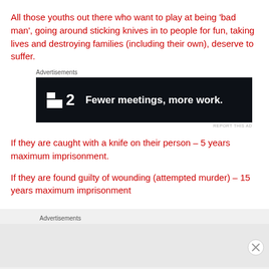All those youths out there who want to play at being ‘bad man’, going around sticking knives in to people for fun, taking lives and destroying families (including their own), deserve to suffer.
[Figure (other): Advertisement banner for a product/service. Dark background with white text reading 'Fewer meetings, more work.' with a logo showing a stylized icon and the number 2.]
If they are caught with a knife on their person – 5 years maximum imprisonment.
If they are found guilty of wounding (attempted murder) – 15 years maximum imprisonment
[Figure (other): Advertisement section placeholder at the bottom of the page, light grey background with 'Advertisements' label.]